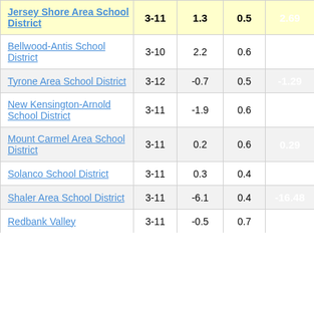| District | Grades | Col3 | Col4 | Score |
| --- | --- | --- | --- | --- |
| Jersey Shore Area School District | 3-11 | 1.3 | 0.5 | 2.69 |
| Bellwood-Antis School District | 3-10 | 2.2 | 0.6 | 3.36 |
| Tyrone Area School District | 3-12 | -0.7 | 0.5 | -1.29 |
| New Kensington-Arnold School District | 3-11 | -1.9 | 0.6 | -3.06 |
| Mount Carmel Area School District | 3-11 | 0.2 | 0.6 | 0.29 |
| Solanco School District | 3-11 | 0.3 | 0.4 | 0.81 |
| Shaler Area School District | 3-11 | -6.1 | 0.4 | -16.48 |
| Redbank Valley | 3-11 | -0.5 | 0.7 | -3.52 |